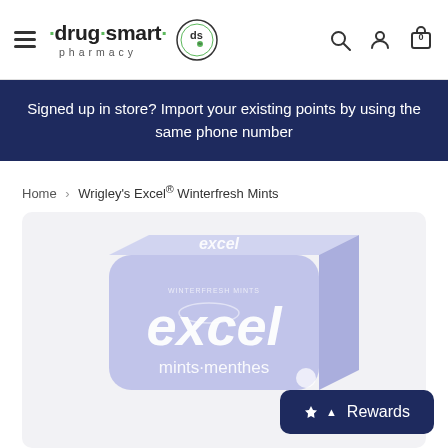drug smart pharmacy — navigation header with hamburger menu, logo, search, account, and cart icons
Signed up in store? Import your existing points by using the same phone number
Home > Wrigley's Excel® Winterfresh Mints
[Figure (photo): Product photo of Wrigley's Excel Winterfresh Mints tin/box in light blue/lavender color with 'excel mints-menthes' branding, on a light grey background]
Rewards